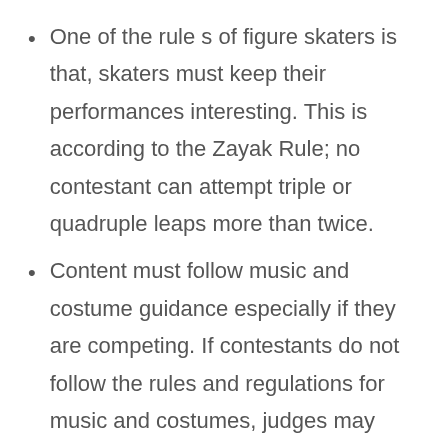One of the rule s of figure skaters is that, skaters must keep their performances interesting. This is according to the Zayak Rule; no contestant can attempt triple or quadruple leaps more than twice.
Content must follow music and costume guidance especially if they are competing. If contestants do not follow the rules and regulations for music and costumes, judges may penalize them or disqualify them entirely. Specific genres of music are prohibited, and clothes must not have “excessive adornment” or be overly exposing.
And finally figure skating rule also requires that